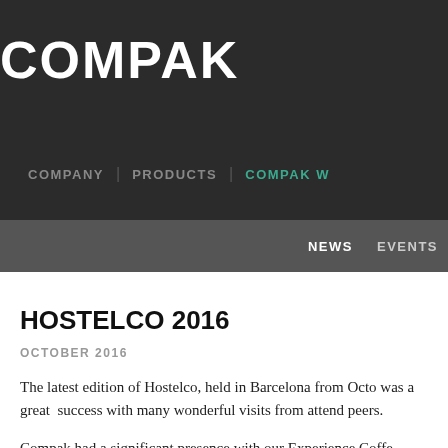COMPAK
COMPANY | PRODUCTS | COMPAK W
NEWS   EVENTS
HOSTELCO 2016
OCTOBER 2016
The latest edition of Hostelco, held in Barcelona from Octo... was a great success with many wonderful visits from attend... peers.
Compak had a significant presence with our Experience Coffe... which is the exclusive distributor of Wega, Astoria and Slaye...